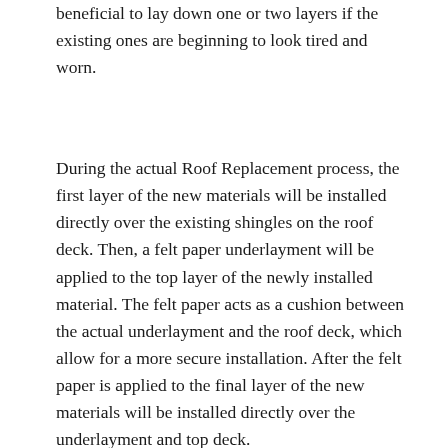beneficial to lay down one or two layers if the existing ones are beginning to look tired and worn.
During the actual Roof Replacement process, the first layer of the new materials will be installed directly over the existing shingles on the roof deck. Then, a felt paper underlayment will be applied to the top layer of the newly installed material. The felt paper acts as a cushion between the actual underlayment and the roof deck, which allow for a more secure installation. After the felt paper is applied to the final layer of the new materials will be installed directly over the underlayment and top deck.